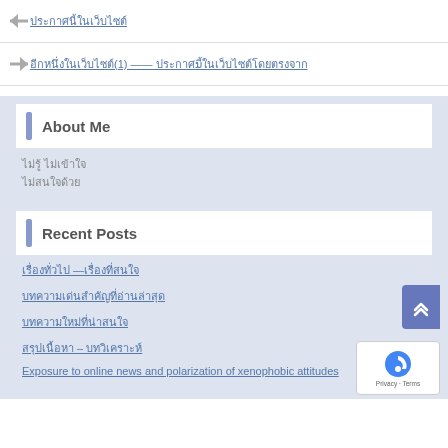← [link with Thai/CJK text]
→ [Thai/CJK link text](1) —— [Thai/CJK link text]
About Me
[Thai text line 1]
[Thai text line 2]
Recent Posts
[Thai/CJK text] —[Thai/CJK text]
[Thai/CJK text]
[Thai/CJK text]
[Thai/CJK text] — [Thai/CJK text]
Exposure to online news and polarization of xenophobic attitudes